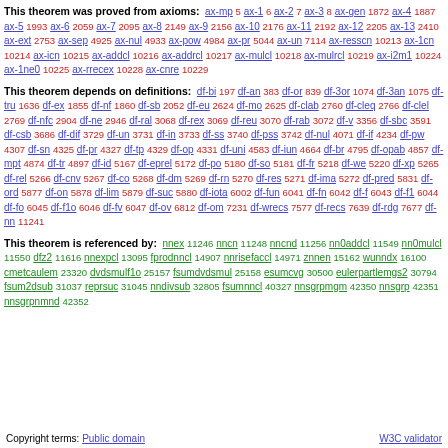This theorem was proved from axioms: ax-mp 5 ax-1 6 ax-2 7 ax-3 8 ax-gen 1872 ax-4 1887 ax-5 1993 ax-6 2059 ax-7 2095 ax-8 2149 ax-9 2156 ax-10 2176 ax-11 2192 ax-12 2205 ax-13 2410 ax-ext 2753 ax-sep 4925 ax-nul 4933 ax-pow 4984 ax-pr 5044 ax-un 7114 ax-resscn 10213 ax-1cn 10214 ax-icn 10215 ax-addcl 10216 ax-addrcl 10217 ax-mulcl 10218 ax-mulrcl 10219 ax-i2m1 10224 ax-1ne0 10225 ax-rrecex 10228 ax-cnre 10229
This theorem depends on definitions: df-bi 197 df-an 383 df-or 839 df-3or 1074 df-3an 1075 df-tru 1636 df-ex 1855 df-nf 1860 df-sb 2052 df-eu 2624 df-mo 2625 df-clab 2760 df-cleq 2766 df-clel 2769 df-nfc 2904 df-ne 2946 df-ral 3068 df-rex 3069 df-reu 3070 df-rab 3072 df-v 3356 df-sbc 3591 df-csb 3686 df-dif 3729 df-un 3731 df-in 3733 df-ss 3740 df-pss 3742 df-nul 4071 df-if 4234 df-pw 4307 df-sn 4325 df-pr 4327 df-tp 4329 df-op 4331 df-uni 4583 df-iun 4664 df-br 4795 df-opab 4857 df-mpt 4874 df-tr 4897 df-id 5167 df-eprel 5172 df-po 5180 df-so 5181 df-fr 5218 df-we 5220 df-xp 5265 df-rel 5266 df-cnv 5267 df-co 5268 df-dm 5269 df-rn 5270 df-res 5271 df-ima 5272 df-pred 5831 df-ord 5877 df-on 5878 df-lim 5879 df-suc 5880 df-iota 6002 df-fun 6041 df-fn 6042 df-f 6043 df-f1 6044 df-fo 6045 df-f1o 6046 df-fv 6047 df-ov 6812 df-om 7231 df-wrecs 7577 df-recs 7639 df-rdg 7677 df-nn 11241
This theorem is referenced by: nnex 11246 nncn 11248 nncnd 11256 nn0addcl 11549 nn0mulcl 11550 dfz2 11616 nnexpcl 13095 fprodnncl 14907 nnrisefaccl 14971 znnen 15162 wunndx 16100 cmetcaulem 23320 dvdsmulf1o 25157 fsumdvdsmul 25158 esumcvg 30500 eulerpartlemgs2 30794 fsum2dsub 31037 reprsuc 31045 nndivsub 32805 fsumnncl 40327 nnsgrpmgm 42350 nnsgrp 42351 nnsgrpnmnd 42352
Copyright terms: Public domain   W3C validator